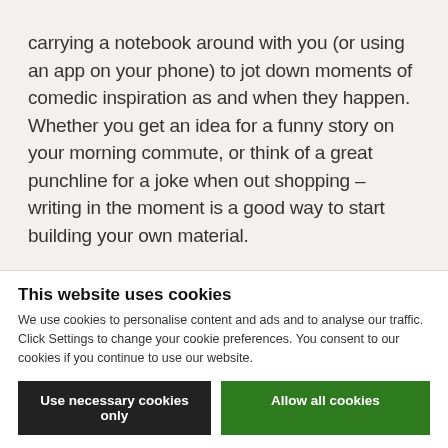carrying a notebook around with you (or using an app on your phone) to jot down moments of comedic inspiration as and when they happen. Whether you get an idea for a funny story on your morning commute, or think of a great punchline for a joke when out shopping – writing in the moment is a good way to start building your own material.

In this BBC article, BAFTA award-winning presenter, writer, actor and comedian Paul Merton, says:
This website uses cookies
We use cookies to personalise content and ads and to analyse our traffic. Click Settings to change your cookie preferences. You consent to our cookies if you continue to use our website.
Use necessary cookies only
Allow all cookies
Settings